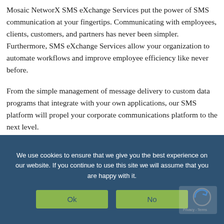Mosaic NetworX SMS eXchange Services put the power of SMS communication at your fingertips. Communicating with employees, clients, customers, and partners has never been simpler. Furthermore, SMS eXchange Services allow your organization to automate workflows and improve employee efficiency like never before.

From the simple management of message delivery to custom data programs that integrate with your own applications, our SMS platform will propel your corporate communications platform to the next level.
We use cookies to ensure that we give you the best experience on our website. If you continue to use this site we will assume that you are happy with it.